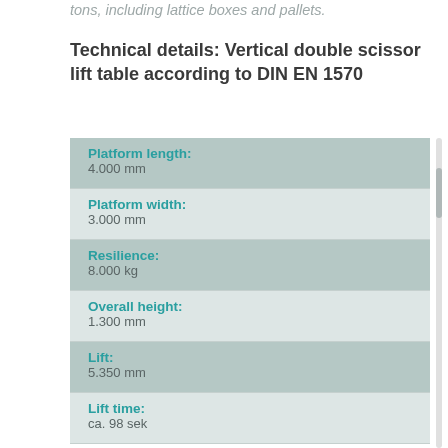tons, including lattice boxes and pallets.
Technical details: Vertical double scissor lift table according to DIN EN 1570
| Property | Value |
| --- | --- |
| Platform length: | 4.000 mm |
| Platform width: | 3.000 mm |
| Resilience: | 8.000 kg |
| Overall height: | 1.300 mm |
| Lift: | 5.350 mm |
| Lift time: | ca. 98 sek |